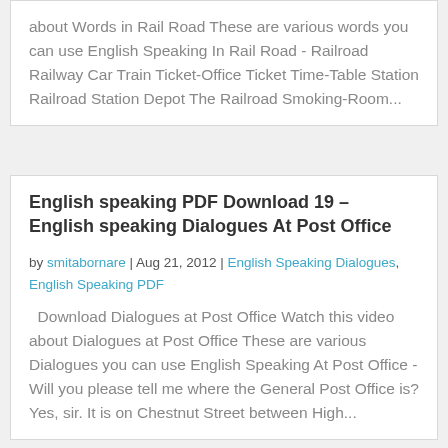about Words in Rail Road These are various words you can use English Speaking In Rail Road - Railroad Railway Car Train Ticket-Office Ticket Time-Table Station Railroad Station Depot The Railroad Smoking-Room...
English speaking PDF Download 19 – English speaking Dialogues At Post Office
by smitabornare | Aug 21, 2012 | English Speaking Dialogues, English Speaking PDF
Download Dialogues at Post Office Watch this video about Dialogues at Post Office These are various Dialogues you can use English Speaking At Post Office - Will you please tell me where the General Post Office is? Yes, sir. It is on Chestnut Street between High...